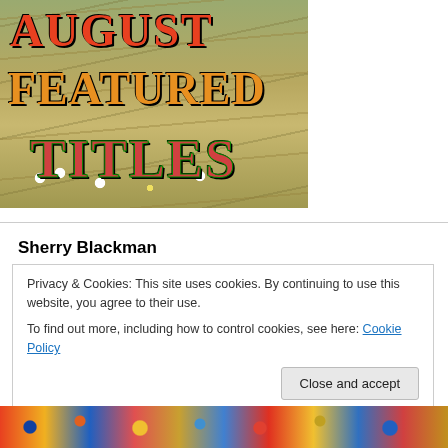[Figure (illustration): Banner image with a meadow/wheat field background showing text 'AUGUST FEATURED TITLES' in decorative serif fonts with red, orange, and green colors over a field with wildflowers and wheat stalks]
Sherry Blackman
Privacy & Cookies: This site uses cookies. By continuing to use this website, you agree to their use.
To find out more, including how to control cookies, see here: Cookie Policy
Close and accept
[Figure (photo): Colorful decorative bottom strip with butterfly/floral patterns in blue, orange, red, and yellow colors]